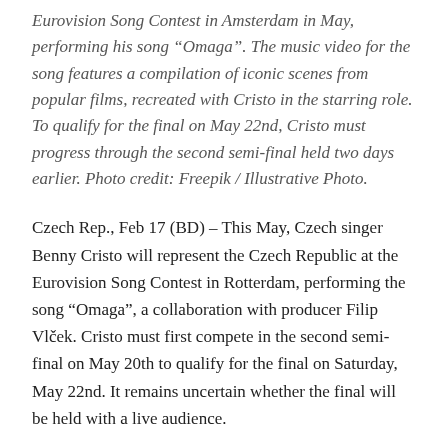Eurovision Song Contest in Amsterdam in May, performing his song “Omaga”. The music video for the song features a compilation of iconic scenes from popular films, recreated with Cristo in the starring role. To qualify for the final on May 22nd, Cristo must progress through the second semi-final held two days earlier. Photo credit: Freepik / Illustrative Photo.
Czech Rep., Feb 17 (BD) – This May, Czech singer Benny Cristo will represent the Czech Republic at the Eurovision Song Contest in Rotterdam, performing the song “Omaga”, a collaboration with producer Filip Vlček. Cristo must first compete in the second semi-final on May 20th to qualify for the final on Saturday, May 22nd. It remains uncertain whether the final will be held with a live audience.